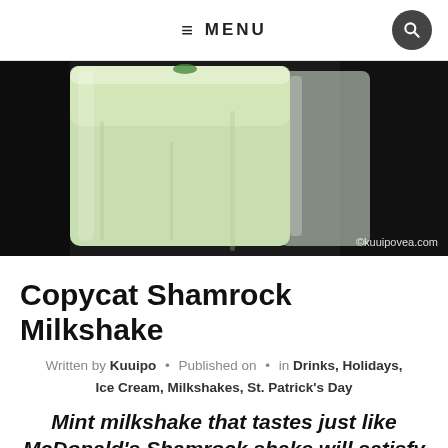≡ MENU
[Figure (photo): Close-up photo of a green mint milkshake in a glass, with another glass in the background. Dark background. Watermark: ©kuuipovea.com]
Copycat Shamrock Milkshake
Written by Kuuipo · Published on · in Drinks, Holidays, Ice Cream, Milkshakes, St. Patrick's Day
Mint milkshake that tastes just like McDonald's Shamrock shake will satisfy